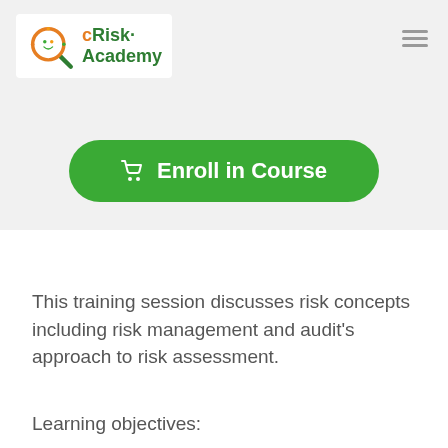[Figure (logo): cRisk Academy logo with colorful magnifying glass icon and green text]
[Figure (other): Green 'Enroll in Course' button with shopping cart icon]
This training session discusses risk concepts including risk management and audit's approach to risk assessment.
Learning objectives: